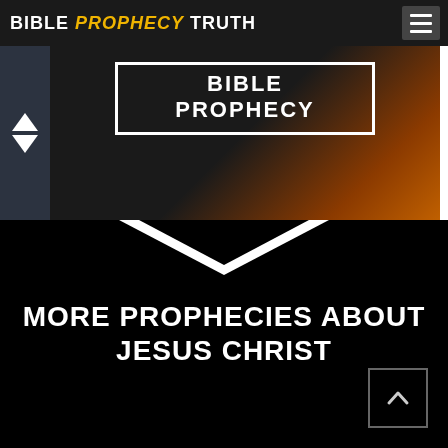BIBLE PROPHECY TRUTH
[Figure (screenshot): Slideshow banner showing 'BIBLE PROPHECY' text in a white bordered box over a dark background with orange-brown gradient on the right side. Left side has navigation arrows (up/down chevrons).]
MORE PROPHECIES ABOUT JESUS CHRIST